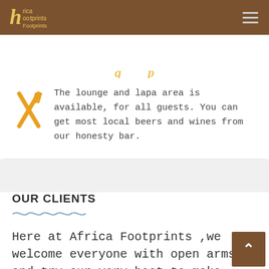Africa Footprints
[Figure (logo): Africa Footprints logo with stylized H and text in yellow on brown background]
The lounge and lapa area is available, for all guests. You can get most local beers and wines from our honesty bar.
OUR CLIENTS
Here at Africa Footprints ,we welcome everyone with open arms and try our very best to make your stay with us stress free and relaxing. Africa Footprints knows that you don't come to Gauteng